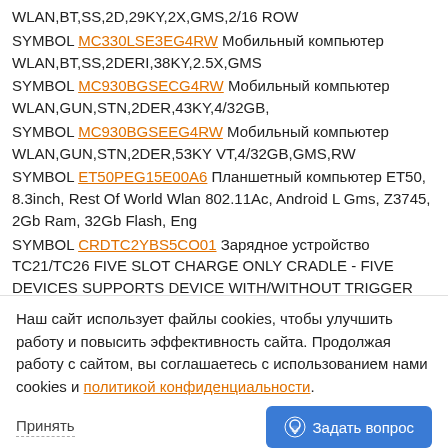WLAN,BT,SS,2D,29KY,2X,GMS,2/16 ROW
SYMBOL MC330LSE3EG4RW Мобильный компьютер WLAN,BT,SS,2DERI,38KY,2.5X,GMS
SYMBOL MC930BGSECG4RW Мобильный компьютер WLAN,GUN,STN,2DER,43KY,4/32GB,
SYMBOL MC930BGSEEG4RW Мобильный компьютер WLAN,GUN,STN,2DER,53KY VT,4/32GB,GMS,RW
SYMBOL ET50PEG15E00A6 Планшетный компьютер ET50, 8.3inch, Rest Of World Wlan 802.11Ac, Android L Gms, Z3745, 2Gb Ram, 32Gb Flash, Eng
SYMBOL CRDTC2YBS5CO01 Зарядное устройство TC21/TC26 FIVE SLOT CHARGE ONLY CRADLE - FIVE DEVICES SUPPORTS DEVICE WITH/WITHOUT TRIGGER GUN, POWER SUPPLY AND DC CABLE SOLD SEPARATELY PWR-BGA12V108W0WW, CBL-DC-382A1-01
SYMBOL 1166CRD01KIT Зарядное устройство 1166 Docking
Наш сайт использует файлы cookies, чтобы улучшить работу и повысить эффективность сайта. Продолжая работу с сайтом, вы соглашаетесь с использованием нами cookies и политикой конфиденциальности.
Принять